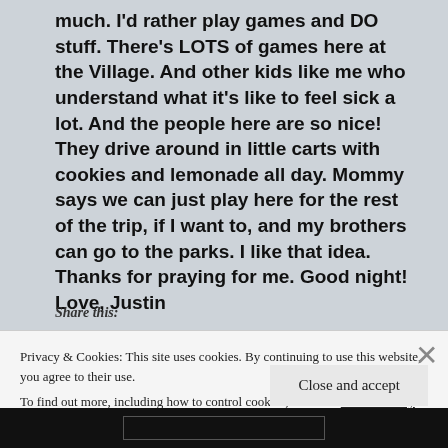much. I'd rather play games and DO stuff. There's LOTS of games here at the Village. And other kids like me who understand what it's like to feel sick a lot. And the people here are so nice! They drive around in little carts with cookies and lemonade all day. Mommy says we can just play here for the rest of the trip, if I want to, and my brothers can go to the parks. I like that idea. Thanks for praying for me. Good night! Love, Justin
Share this:
Privacy & Cookies: This site uses cookies. By continuing to use this website, you agree to their use. To find out more, including how to control cookies, see here: Cookie Policy